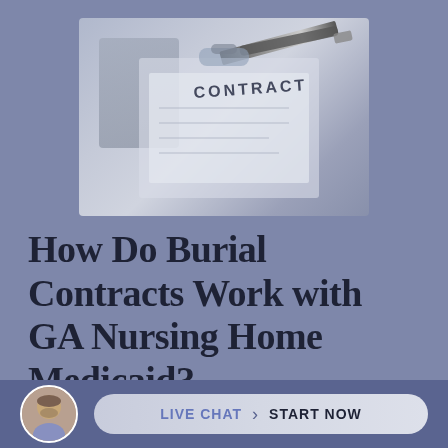[Figure (photo): Photo of a contract document on a clipboard with a pen, in muted blue-grey tones. The word CONTRACT is visible on the document.]
How Do Burial Contracts Work with GA Nursing Home Medicaid?
By Miles Hurley | April 12, 2022